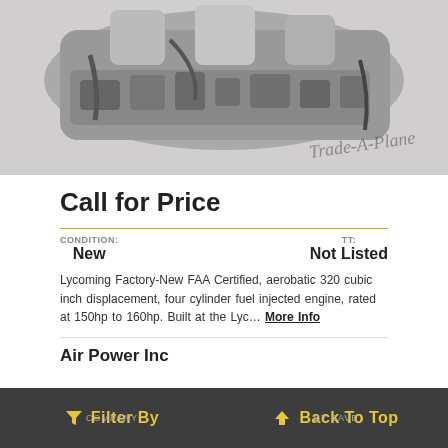[Figure (photo): Grayscale photo of an aircraft engine (Lycoming) with a watermark reading 'Trade-A-Plane' in the bottom right corner.]
Call for Price
| CONDITION: | TT: |
| --- | --- |
| New | Not Listed |
Lycoming Factory-New FAA Certified, aerobatic 320 cubic inch displacement, four cylinder fuel injected engine, rated at 150hp to 160hp. Built at the Lyc... More Info
Air Power Inc
Filter By   Back To Top